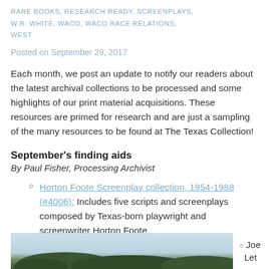RARE BOOKS, RESEARCH READY, SCREENPLAYS, W.R. WHITE, WACO, WACO RACE RELATIONS, WEST
Posted on September 29, 2017
Each month, we post an update to notify our readers about the latest archival collections to be processed and some highlights of our print material acquisitions. These resources are primed for research and are just a sampling of the many resources to be found at The Texas Collection!
September's finding aids
By Paul Fisher, Processing Archivist
Horton Foote Screenplay collection, 1954-1988 (#4006): Includes five scripts and screenplays composed by Texas-born playwright and screenwriter Horton Foote.
[Figure (photo): Partial photograph showing trees against a light sky, cropped at bottom of page. To the right side text partially visible: 'Joe Let']